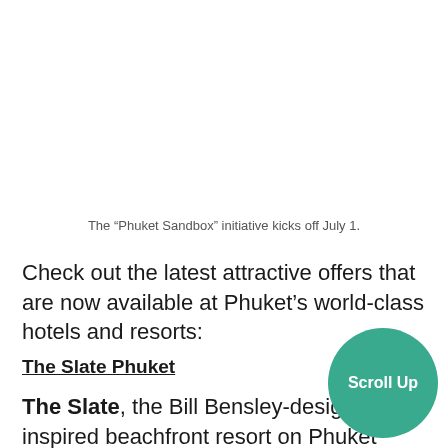The “Phuket Sandbox” initiative kicks off July 1.
Check out the latest attractive offers that are now available at Phuket’s world-class hotels and resorts:
The Slate Phuket
The Slate, the Bill Bensley-designed, a inspired beachfront resort on Phuket secluded northwest coast, has unveile “Summer Sandbox” package, which treats